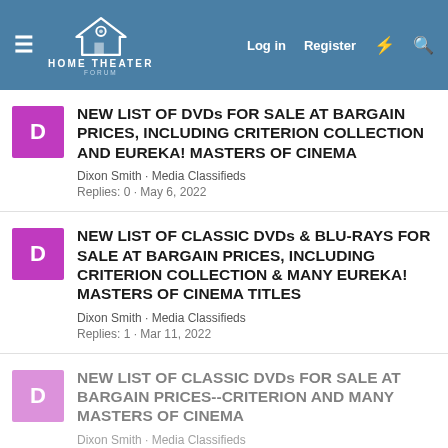HOME THEATER FORUM — Log in | Register
NEW LIST OF DVDs FOR SALE AT BARGAIN PRICES, INCLUDING CRITERION COLLECTION AND EUREKA! MASTERS OF CINEMA
Dixon Smith · Media Classifieds
Replies: 0 · May 6, 2022
NEW LIST OF CLASSIC DVDs & BLU-RAYS FOR SALE AT BARGAIN PRICES, INCLUDING CRITERION COLLECTION & MANY EUREKA! MASTERS OF CINEMA TITLES
Dixon Smith · Media Classifieds
Replies: 1 · Mar 11, 2022
NEW LIST OF CLASSIC DVDs FOR SALE AT BARGAIN PRICES--CRITERION AND MANY MASTERS OF CINEMA
Dixon Smith · Media Classifieds
Replies: 0 · Jan 10, 2022